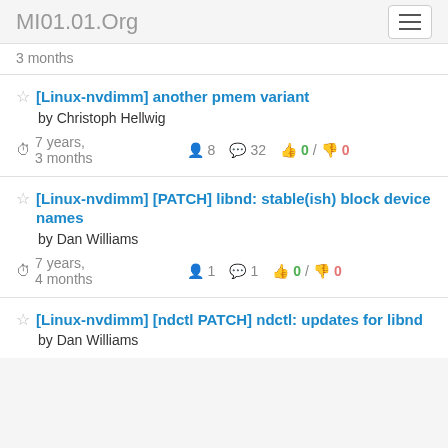MI01.01.Org
3 months
[Linux-nvdimm] another pmem variant by Christoph Hellwig — 7 years, 3 months — 8 users, 32 comments, 0 up / 0 down
[Linux-nvdimm] [PATCH] libnd: stable(ish) block device names by Dan Williams — 7 years, 4 months — 1 user, 1 comment, 0 up / 0 down
[Linux-nvdimm] [ndctl PATCH] ndctl: updates for libnd by Dan Williams